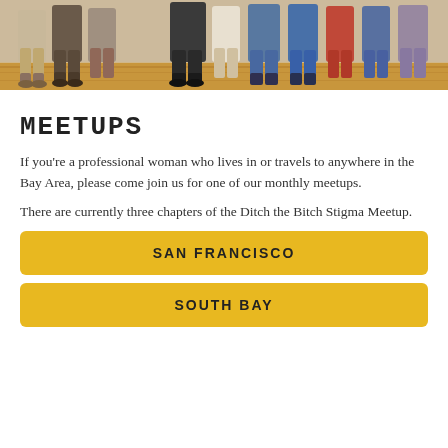[Figure (photo): Group photo of professional women standing together in a room, cropped to show lower bodies and legs, taken at a meetup event.]
MEETUPS
If you're a professional woman who lives in or travels to anywhere in the Bay Area, please come join us for one of our monthly meetups.
There are currently three chapters of the Ditch the Bitch Stigma Meetup.
SAN FRANCISCO
SOUTH BAY